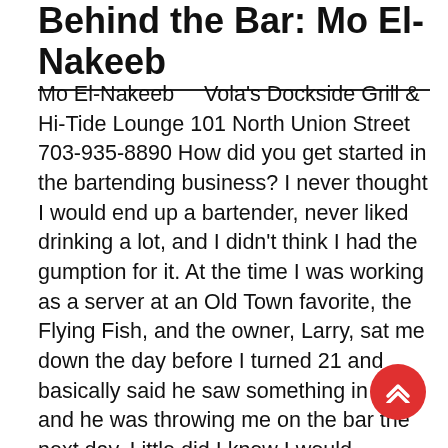Behind the Bar: Mo El-Nakeeb
Mo El-Nakeeb    Vola's Dockside Grill & Hi-Tide Lounge 101 North Union Street 703-935-8890 How did you get started in the bartending business? I never thought I would end up a bartender, never liked drinking a lot, and I didn't think I had the gumption for it. At the time I was working as a server at an Old Town favorite, the Flying Fish, and the owner, Larry, sat me down the day before I turned 21 and basically said he saw something in me and he was throwing me on the bar the next day. Little did I know I would absolutely love it and would want to make a career out of it.   What is your biggest bartender pet peeve? Everyone always says they hate making mojitos or people asking for something